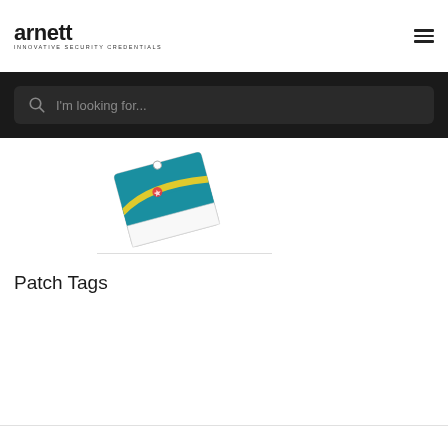arnett INNOVATIVE SECURITY CREDENTIALS
[Figure (screenshot): Search bar with magnifying glass icon and placeholder text 'I'm looking for...' on dark background]
[Figure (photo): Partial view of colorful patch tags product image]
Patch Tags